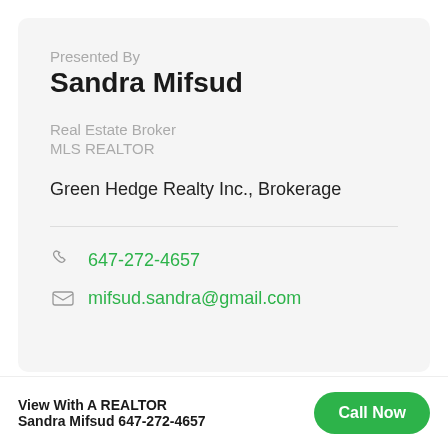Presented By
Sandra Mifsud
Real Estate Broker
MLS REALTOR
Green Hedge Realty Inc., Brokerage
647-272-4657
mifsud.sandra@gmail.com
View With A REALTOR
Sandra Mifsud 647-272-4657
Call Now